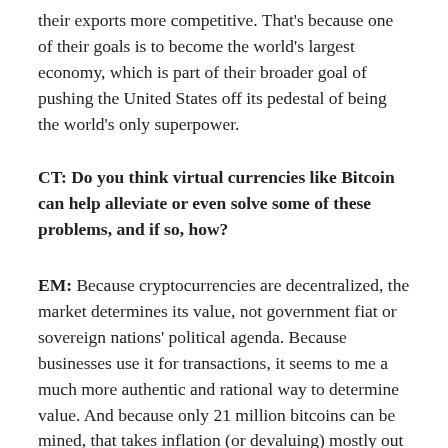their exports more competitive. That's because one of their goals is to become the world's largest economy, which is part of their broader goal of pushing the United States off its pedestal of being the world's only superpower.
CT: Do you think virtual currencies like Bitcoin can help alleviate or even solve some of these problems, and if so, how?
EM: Because cryptocurrencies are decentralized, the market determines its value, not government fiat or sovereign nations' political agenda. Because businesses use it for transactions, it seems to me a much more authentic and rational way to determine value. And because only 21 million bitcoins can be mined, that takes inflation (or devaluing) mostly out of